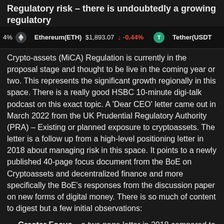Regulatory risk – there is undoubtedly a growing regulatory
4%   Ethereum(ETH) $1,893.07 ↓ -0.44%   Tether(USDT
Crypto-assets (MiCA) Regulation is currently in the proposal stage and thought to be live in the coming year or two. This represents the significant growth regionally in this space. There is a really good HSBC 10-minute digi-talk podcast on this exact topic. A 'Dear CEO' letter came out in March 2022 from the UK Prudential Regulatory Authority (PRA) – Existing or planned exposure to cryptoassets. The letter is a follow up from a high-level positioning letter in 2018 about managing risk in this space. It points to a newly published 40-page focus document from the BoE on Cryptoassets and decentralized finance and more specifically the BoE's responses from the discussion paper on new forms of digital money. There is so much of content to digest but a few initial observations:
Greater Focus – a two page letter in 2018 compared to 86 pages of content in 2022 – the PRA is recognizing the rapid growth in the space and that banks are beginning to